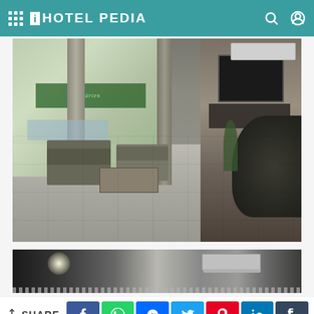iHOTEL PEDIA
[Figure (photo): Hotel lobby interior with seating area, reception desk, flat screen TV on wall, and large windows showing street view outside]
[Figure (photo): Partial view of hotel room or corridor with spotlight ceiling light and air conditioning unit]
SHARE